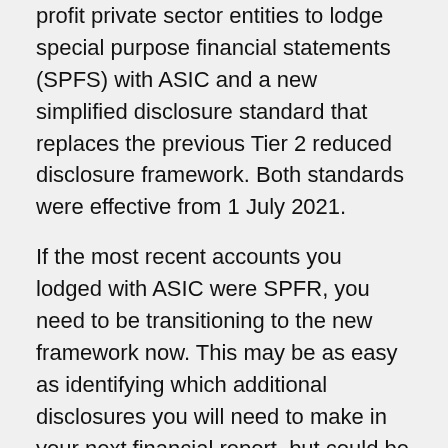amending standard that removes the ability of for-profit private sector entities to lodge special purpose financial statements (SPFS) with ASIC and a new simplified disclosure standard that replaces the previous Tier 2 reduced disclosure framework. Both standards were effective from 1 July 2021.
If the most recent accounts you lodged with ASIC were SPFR, you need to be transitioning to the new framework now. This may be as easy as identifying which additional disclosures you will need to make in your next financial report, but could be more complicated if it also involves first-time preparation of consolidated financial statements.
See this report for further details.